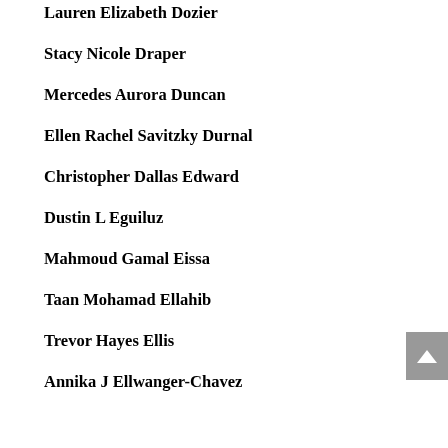Lauren Elizabeth Dozier
Stacy Nicole Draper
Mercedes Aurora Duncan
Ellen Rachel Savitzky Durnal
Christopher Dallas Edward
Dustin L Eguiluz
Mahmoud Gamal Eissa
Taan Mohamad Ellahib
Trevor Hayes Ellis
Annika J Ellwanger-Chavez